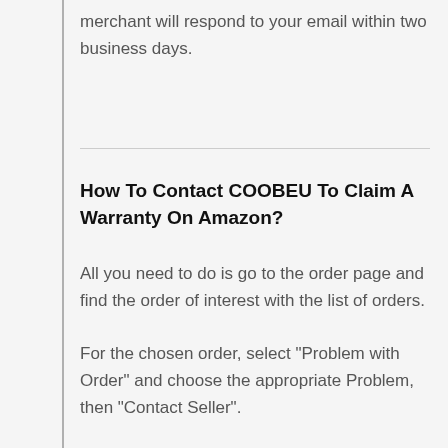merchant will respond to your email within two business days.
How To Contact COOBEU To Claim A Warranty On Amazon?
All you need to do is go to the order page and find the order of interest with the list of orders.
For the chosen order, select "Problem with Order" and choose the appropriate Problem, then "Contact Seller".